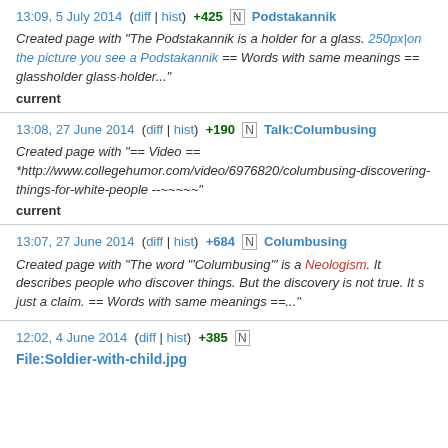13:09, 5 July 2014  (diff | hist)  +425  N  Podstakannik
Created page with "The Podstakannik is a holder for a glass. 250px|on the picture you see a Podstakannik == Words with same meanings == glassholder glass·holder..."
current
13:08, 27 June 2014  (diff | hist)  +190  N  Talk:Columbusing
Created page with "== Video == *http://www.collegehumor.com/video/6976820/columbusing-discovering-things-for-white-people --~~~~~"
current
13:07, 27 June 2014  (diff | hist)  +684  N  Columbusing
Created page with "The word "'Columbusing'" is a Neologism. It describes people who discover things. But the discovery is not true. It s just a claim. == Words with same meanings ==..."
12:02, 4 June 2014  (diff | hist)  +385  N
File:Soldier-with-child.jpg